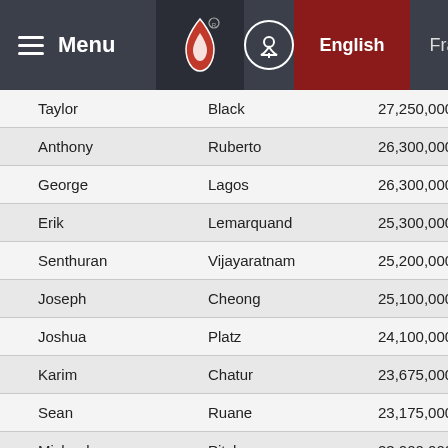Menu | [Logo] | [Locator] | English | Français
| First Name | Last Name | Amount |
| --- | --- | --- |
| Taylor | Black | 27,250,000 |
| Anthony | Ruberto | 26,300,000 |
| George | Lagos | 26,300,000 |
| Erik | Lemarquand | 25,300,000 |
| Senthuran | Vijayaratnam | 25,200,000 |
| Joseph | Cheong | 25,100,000 |
| Joshua | Platz | 24,100,000 |
| Karim | Chatur | 23,675,000 |
| Sean | Ruane | 23,175,000 |
| Michael | Pitcher | 23,000,000 |
| Ryan | Wolters | 22,500,000 |
| Brian | Yoon | 21,800,000 |